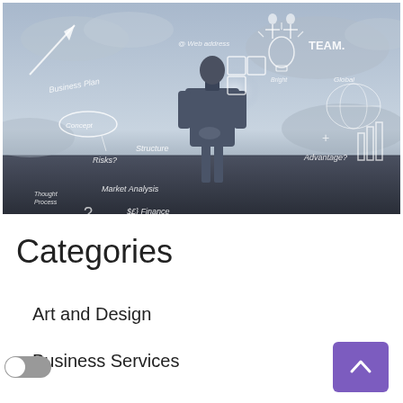[Figure (photo): A businessman in a suit stands with his back to the viewer, facing a large wall covered with hand-drawn business strategy sketches including arrows, business plan, concept, risks, structure, market analysis, finance symbols, team, global map, advantage text, lightbulb, puzzle pieces, and other business concepts drawn in chalk on a dramatic cloudy background.]
Categories
Art and Design
Business Services